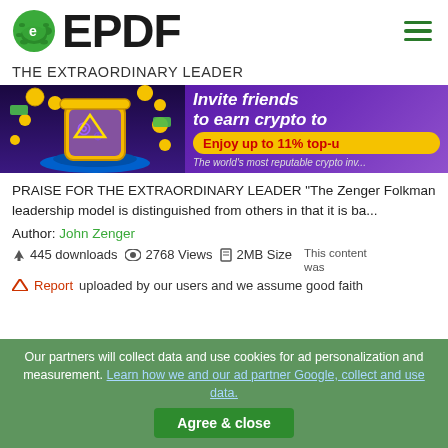EPDF
THE EXTRAORDINARY LEADER
[Figure (illustration): Crypto advertisement banner: 'Invite friends to earn crypto to. Enjoy up to 11% top-u. The world's most reputable crypto inv...']
PRAISE FOR THE EXTRAORDINARY LEADER "The Zenger Folkman leadership model is distinguished from others in that it is ba...
Author: John Zenger
445 downloads   2768 Views   2MB Size   This content was
Report   uploaded by our users and we assume good faith
Our partners will collect data and use cookies for ad personalization and measurement. Learn how we and our ad partner Google, collect and use data.
Agree & close